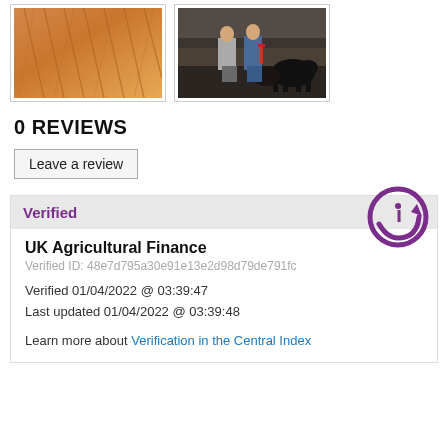[Figure (photo): Two agricultural/farm photos side by side: left shows an aerial view of a plowed orange/brown field with tractor marks; right shows two people examining cattle in a barn.]
0 REVIEWS
Leave a review
Verified
UK Agricultural Finance
Verified ID: 48e7d795a30e91e13e2d98d79de791fc
Verified 01/04/2022 @ 03:39:47
Last updated 01/04/2022 @ 03:39:48
Learn more about Verification in the Central Index